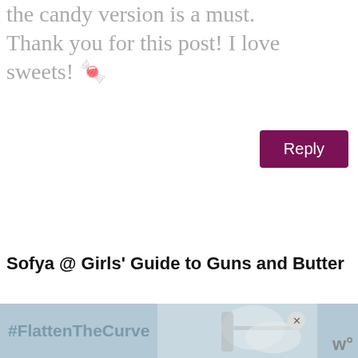the candy version is a must. Thank you for this post! I love sweets! 🍬
Reply
Sofya @ Girls' Guide to Guns and Butter
on 2/28/11 at 9:57 am
I've seen this before! It sort of bothers me… The context is so wrong.
Reply
[Figure (screenshot): #FlattenTheCurve ad banner with image of hand washing]